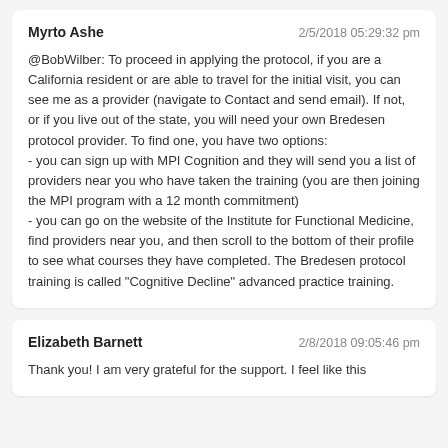Myrto Ashe — 2/5/2018 05:29:32 pm
@BobWilber: To proceed in applying the protocol, if you are a California resident or are able to travel for the initial visit, you can see me as a provider (navigate to Contact and send email). If not, or if you live out of the state, you will need your own Bredesen protocol provider. To find one, you have two options:
- you can sign up with MPI Cognition and they will send you a list of providers near you who have taken the training (you are then joining the MPI program with a 12 month commitment)
- you can go on the website of the Institute for Functional Medicine, find providers near you, and then scroll to the bottom of their profile to see what courses they have completed. The Bredesen protocol training is called "Cognitive Decline" advanced practice training.
Elizabeth Barnett — 2/8/2018 09:05:46 pm
Thank you! I am very grateful for the support. I feel like this